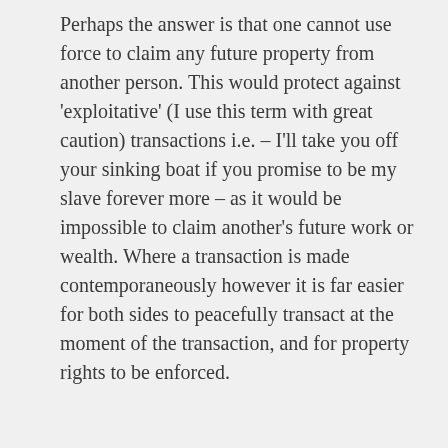Perhaps the answer is that one cannot use force to claim any future property from another person. This would protect against 'exploitative' (I use this term with great caution) transactions i.e. – I'll take you off your sinking boat if you promise to be my slave forever more – as it would be impossible to claim another's future work or wealth. Where a transaction is made contemporaneously however it is far easier for both sides to peacefully transact at the moment of the transaction, and for property rights to be enforced.